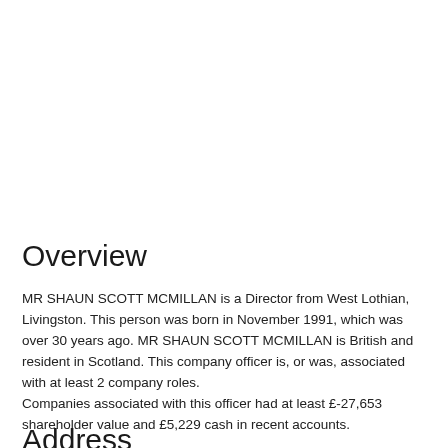Overview
MR SHAUN SCOTT MCMILLAN is a Director from West Lothian, Livingston. This person was born in November 1991, which was over 30 years ago. MR SHAUN SCOTT MCMILLAN is British and resident in Scotland. This company officer is, or was, associated with at least 2 company roles.
Companies associated with this officer had at least £-27,653 shareholder value and £5,229 cash in recent accounts.

Their most recent appointment, in our records, was to FORT CONTRACTING LIMITED on 2017-07-19.
Address